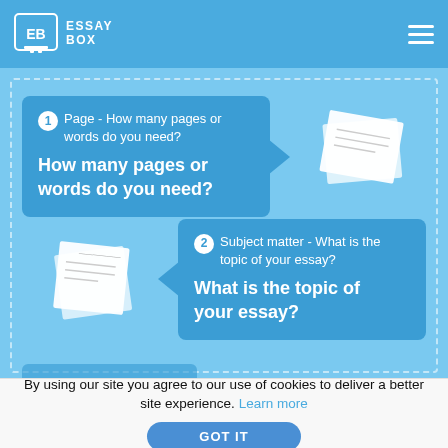ESSAY BOX
[Figure (screenshot): EssayBox website interface showing two step bubbles: 1) Page - How many pages or words do you need? and 2) Subject matter - What is the topic of your essay? with decorative paper graphics on a blue background]
By using our site you agree to our use of cookies to deliver a better site experience. Learn more
GOT IT